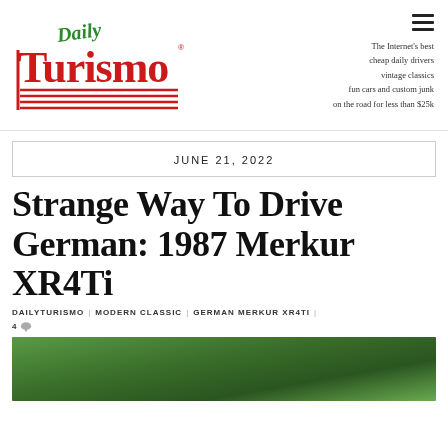[Figure (logo): Daily Turismo logo — 'Daily' in green script, 'Turismo' in large red stylized letters with road line graphic]
The Internet's best
cheap daily drivers
vintage classics
fun cars and custom junk
on the road for less than $25k
JUNE 21, 2022
Strange Way To Drive German: 1987 Merkur XR4Ti
DAILYTURISMO | MODERN CLASSIC | GERMAN MERKUR XR4TI
4
[Figure (photo): Outdoor photo of a car partially visible, surrounded by dense green foliage and trees]